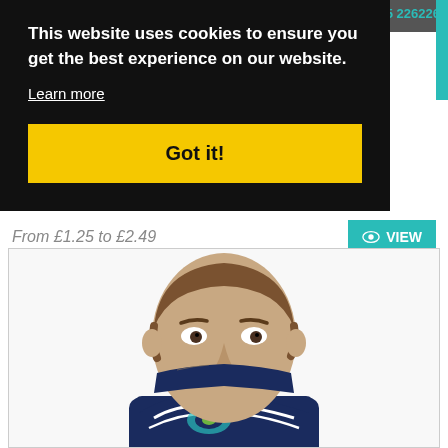01655 226226
This website uses cookies to ensure you get the best experience on our website.
Learn more
Got it!
From £1.25 to £2.49
[Figure (photo): A man wearing a navy blue and white NFL Seattle Seahawks neck gaiter/face covering pulled up over his mouth and nose, looking slightly to the side with a serious expression. He has short brown hair and a light beard.]